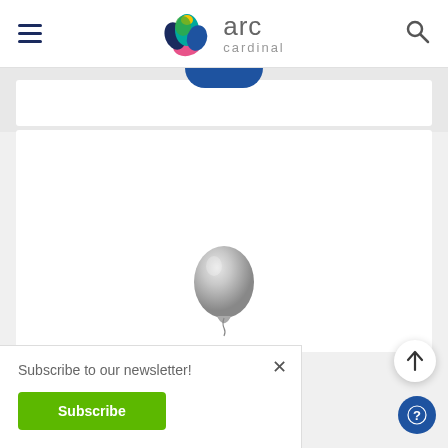arc cardinal
[Figure (photo): Silver/gray metallic balloon against white background, shown from the bottom portion of the image]
Subscribe to our newsletter!
Subscribe